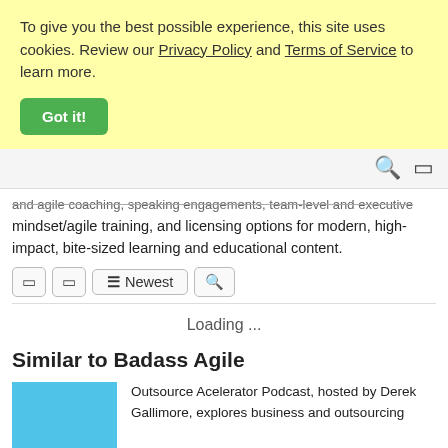To give you the best possible experience, this site uses cookies. Review our Privacy Policy and Terms of Service to learn more.
Got it!
and agile coaching, speaking engagements, team-level and executive mindset/agile training, and licensing options for modern, high-impact, bite-sized learning and educational content.
Newest
Loading ...
Similar to Badass Agile
Outsource Acelerator Podcast, hosted by Derek Gallimore, explores business and outsourcing